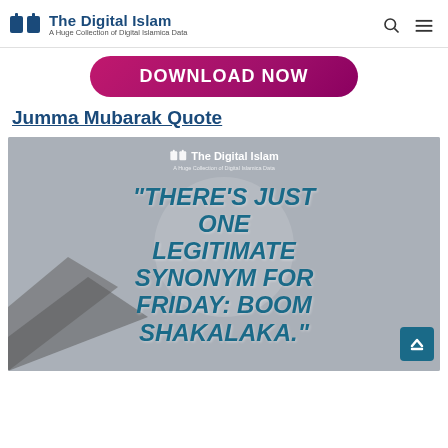The Digital Islam — A Huge Collection of Digital Islamica Data
[Figure (other): Download Now button, magenta/pink rounded rectangle]
Jumma Mubarak Quote
[Figure (illustration): Quote image with The Digital Islam watermark logo and bold italic teal text: "THERE'S JUST ONE LEGITIMATE SYNONYM FOR FRIDAY: BOOM SHAKALAKA." on a grey background with mosque/mountain silhouette]